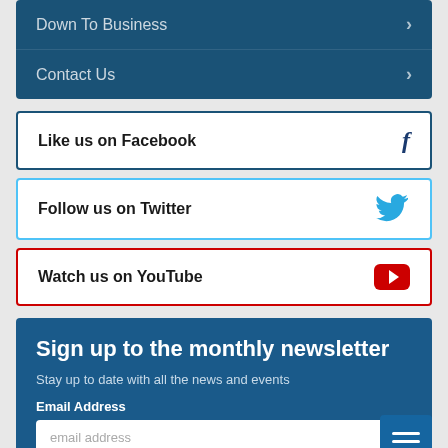Down To Business
Contact Us
Like us on Facebook
Follow us on Twitter
Watch us on YouTube
Sign up to the monthly newsletter
Stay up to date with all the news and events
Email Address
email address